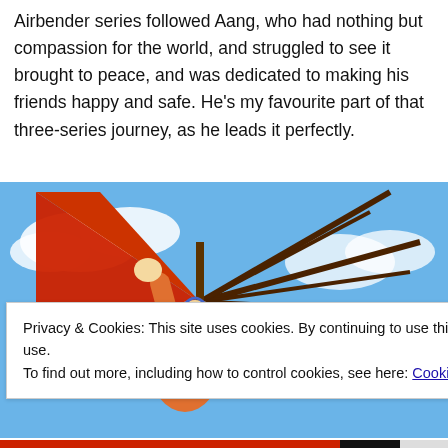Airbender series followed Aang, who had nothing but compassion for the world, and struggled to see it brought to peace, and was dedicated to making his friends happy and safe. He's my favourite part of that three-series journey, as he leads it perfectly.
[Figure (illustration): Animated character Aang from Avatar: The Last Airbender hanging from a red hang glider against a blue sky with clouds]
Privacy & Cookies: This site uses cookies. By continuing to use this website, you agree to their use.
To find out more, including how to control cookies, see here: Cookie Policy
Close and accept